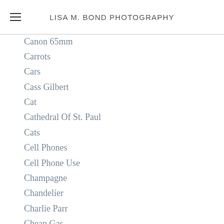LISA M. BOND PHOTOGRAPHY
Canon 65mm
Carrots
Cars
Cass Gilbert
Cat
Cathedral Of St. Paul
Cats
Cell Phones
Cell Phone Use
Champagne
Chandelier
Charlie Parr
Cheap Gas
Chickens
Children
Chinese Year Of The Dragon
Chippewa National Forest
Chocolate
Chris Dicke
Christian DelGrosso